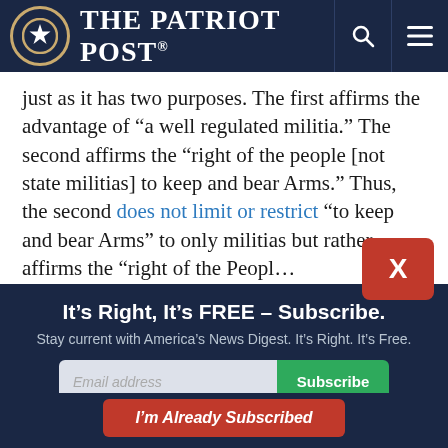The Patriot Post
just as it has two purposes. The first affirms the advantage of “a well regulated militia.” The second affirms the “right of the people [not state militias] to keep and bear Arms.” Thus, the second does not limit or restrict “to keep and bear Arms” to only militias but rather affirms the “right of the People”
It’s Right, It’s FREE – Subscribe.
Stay current with America’s News Digest. It’s Right. It’s Free.
I’m Already Subscribed